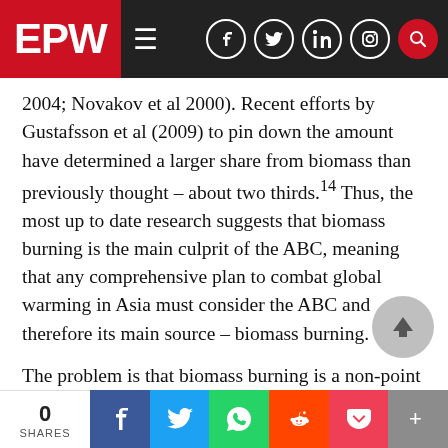EPW
2004; Novakov et al 2000). Recent efforts by Gustafsson et al (2009) to pin down the amount have determined a larger share from biomass than previously thought – about two thirds.14 Thus, the most up to date research suggests that biomass burning is the main culprit of the ABC, meaning that any comprehensive plan to combat global warming in Asia must consider the ABC and therefore its main source – biomass burning.
The problem is that biomass burning is a non-point source of emissions, dispersed across the homes and fields all across the country. Further,
0 SHARES